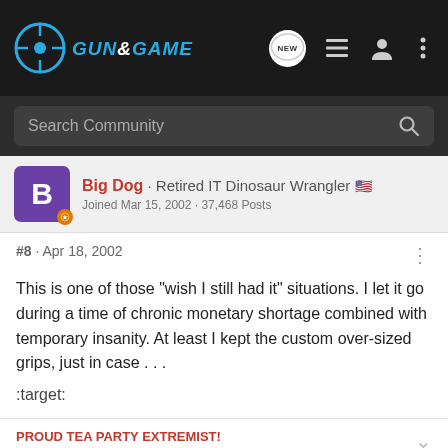Gun & Game
Search Community
Big Dog · Retired IT Dinosaur Wrangler
Joined Mar 15, 2002 · 37,468 Posts
#8 · Apr 18, 2002
This is one of those "wish I still had it" situations. I let it go during a time of chronic monetary shortage combined with temporary insanity. At least I kept the custom over-sized grips, just in case . . .
:target:
PROUD TEA PARTY EXTREMIST!
Participating in a gun buy-back program because you think that